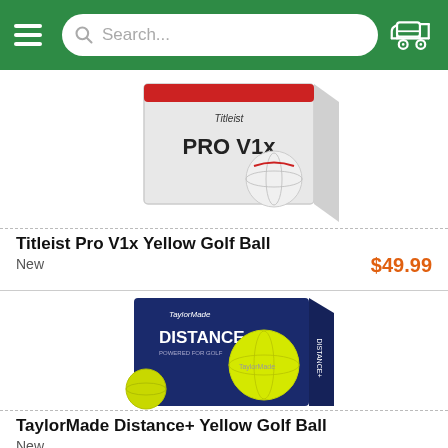Search...
[Figure (photo): Titleist Pro V1x Yellow Golf Ball box packaging, partially visible at top of page]
Titleist Pro V1x Yellow Golf Ball
New
$49.99
[Figure (photo): TaylorMade Distance+ Yellow Golf Ball box with a yellow golf ball in front, on blue background packaging]
TaylorMade Distance+ Yellow Golf Ball
New